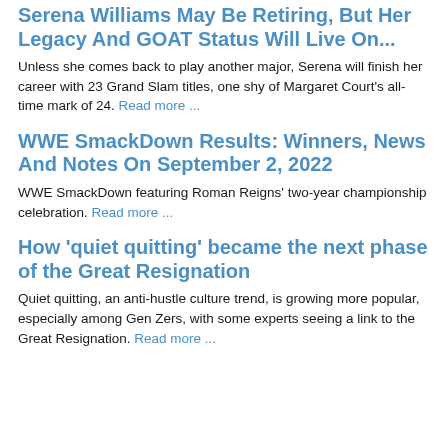Serena Williams May Be Retiring, But Her Legacy And GOAT Status Will Live On...
Unless she comes back to play another major, Serena will finish her career with 23 Grand Slam titles, one shy of Margaret Court's all-time mark of 24. Read more ...
WWE SmackDown Results: Winners, News And Notes On September 2, 2022
WWE SmackDown featuring Roman Reigns' two-year championship celebration. Read more ...
How 'quiet quitting' became the next phase of the Great Resignation
Quiet quitting, an anti-hustle culture trend, is growing more popular, especially among Gen Zers, with some experts seeing a link to the Great Resignation. Read more ...